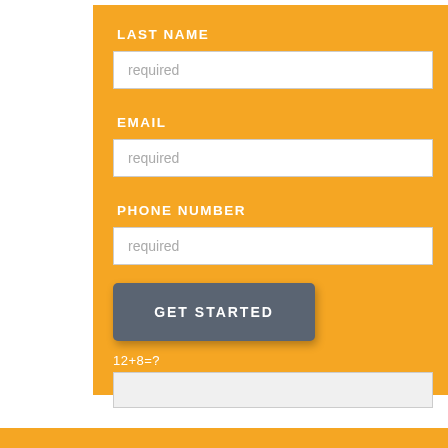LAST NAME
required
EMAIL
required
PHONE NUMBER
required
GET STARTED
12+8=?